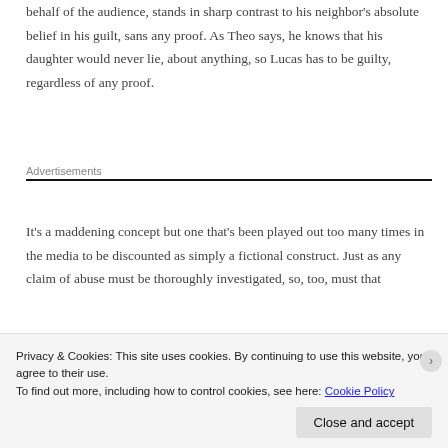behalf of the audience, stands in sharp contrast to his neighbor's absolute belief in his guilt, sans any proof. As Theo says, he knows that his daughter would never lie, about anything, so Lucas has to be guilty, regardless of any proof.
Advertisements
It's a maddening concept but one that's been played out too many times in the media to be discounted as simply a fictional construct. Just as any claim of abuse must be thoroughly investigated, so, too, must that
Privacy & Cookies: This site uses cookies. By continuing to use this website, you agree to their use.
To find out more, including how to control cookies, see here: Cookie Policy